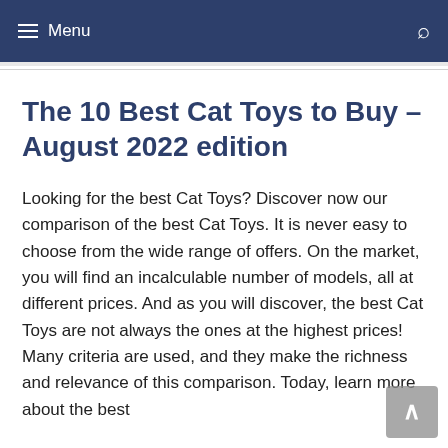≡ Menu
The 10 Best Cat Toys to Buy – August 2022 edition
Looking for the best Cat Toys? Discover now our comparison of the best Cat Toys. It is never easy to choose from the wide range of offers. On the market, you will find an incalculable number of models, all at different prices. And as you will discover, the best Cat Toys are not always the ones at the highest prices! Many criteria are used, and they make the richness and relevance of this comparison. Today, learn more about the best